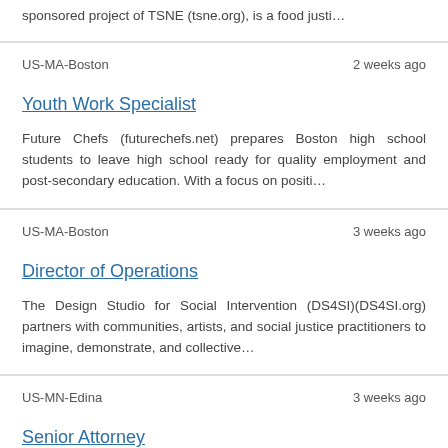sponsored project of TSNE (tsne.org), is a food justi…
US-MA-Boston	2 weeks ago
Youth Work Specialist
Future Chefs (futurechefs.net) prepares Boston high school students to leave high school ready for quality employment and post-secondary education. With a focus on positi…
US-MA-Boston	3 weeks ago
Director of Operations
The Design Studio for Social Intervention (DS4SI)(DS4SI.org) partners with communities, artists, and social justice practitioners to imagine, demonstrate, and collective…
US-MN-Edina	3 weeks ago
Senior Attorney
The Network for Public Health Law (networkforphl.org),